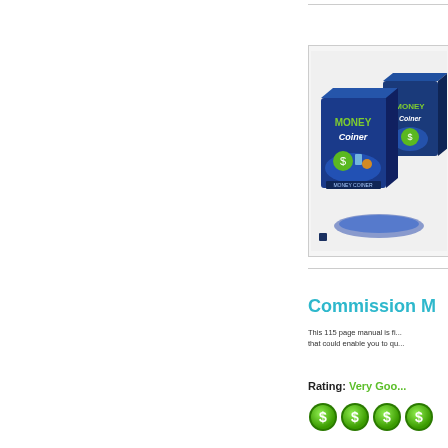[Figure (illustration): Product box image showing 'Money Coiner' software box in blue with green text, showing two boxes side by side with money bag icons. A small dark square dot/indicator is visible at the bottom left of the image area.]
Commission M
This 115 page manual is fi... that could enable you to q...
Rating: Very Goo...
[Figure (illustration): Four green dollar sign coin icons in a row]